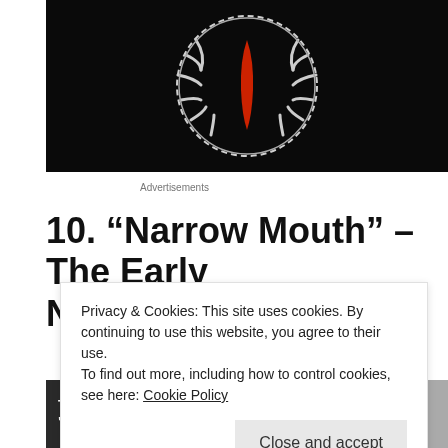[Figure (illustration): Dark/black background image with white skeletal or abstract circular design and a red elongated shape in the center, possibly a logo or album art]
Advertisements
10. “Narrow Mouth” – The Early November
Privacy & Cookies: This site uses cookies. By continuing to use this website, you agree to their use.
To find out more, including how to control cookies, see here: Cookie Policy
Close and accept
[Figure (screenshot): Partial image showing THE EARLY NOVEMBER "NARROW MO[UTH]" text, appearing to be a music video or album thumbnail]